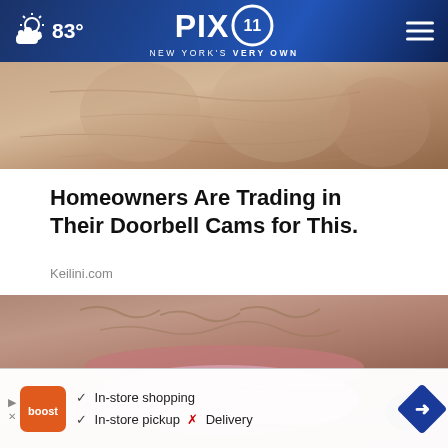PIX11 NEW YORK'S VERY OWN | 83°
[Figure (photo): Close-up photo of elderly person's wrinkled hand or skin, pinkish-tan tones]
Homeowners Are Trading in Their Doorbell Cams for This.
Keilini.com
[Figure (photo): Extreme close-up photo of elderly person's mouth/lips with deep wrinkles]
✓ In-store shopping
✓ In-store pickup  ✗ Delivery